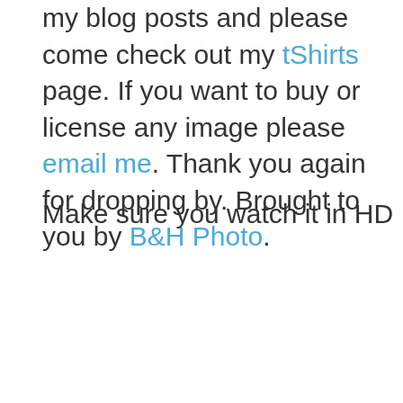my blog posts and please come check out my tShirts page. If you want to buy or license any image please email me. Thank you again for dropping by. Brought to you by B&H Photo.
Make sure you watch it in HD